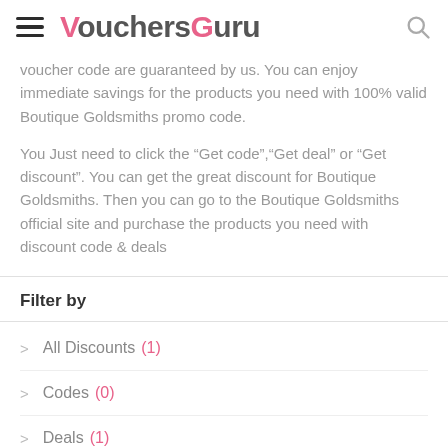VouchersGuru
voucher code are guaranteed by us. You can enjoy immediate savings for the products you need with 100% valid Boutique Goldsmiths promo code.

You Just need to click the “Get code”,“Get deal” or “Get discount”. You can get the great discount for Boutique Goldsmiths. Then you can go to the Boutique Goldsmiths official site and purchase the products you need with discount code & deals
Filter by
All Discounts (1)
Codes (0)
Deals (1)
Discount Code You may also like